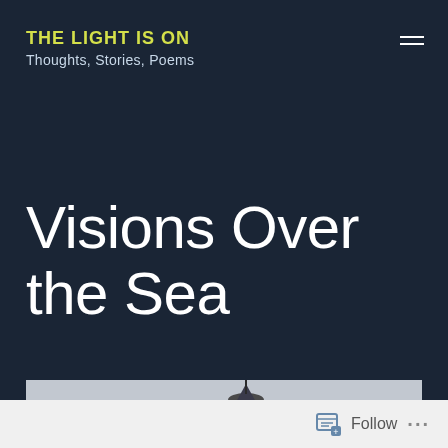THE LIGHT IS ON
Thoughts, Stories, Poems
Visions Over the Sea
[Figure (photo): Partial photo of Seattle Space Needle in foggy/grey sky, cropped at bottom of page]
Follow ...